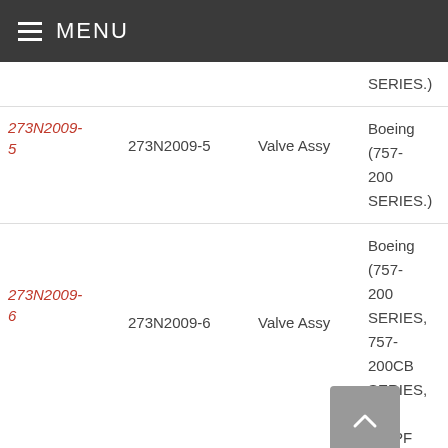MENU
| Part Link | Part Number | Description | Application | Action |
| --- | --- | --- | --- | --- |
|  |  |  | SERIES.) |  |
| 273N2009-5 | 273N2009-5 | Valve Assy | Boeing (757-200 SERIES.) | Request |
| 273N2009-6 | 273N2009-6 | Valve Assy | Boeing (757-200 SERIES, 757-200CB SERIES, 757-200PF | Request |